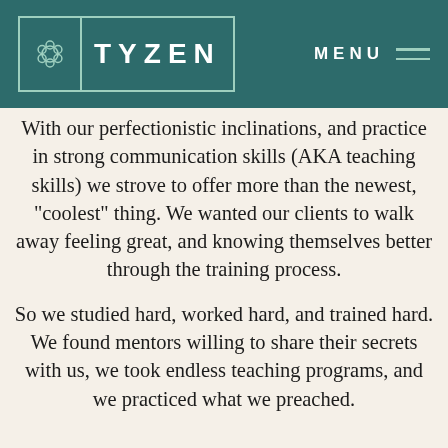TYZEN | MENU
With our perfectionistic inclinations, and practice in strong communication skills (AKA teaching skills) we strove to offer more than the newest, "coolest" thing. We wanted our clients to walk away feeling great, and knowing themselves better through the training process.
So we studied hard, worked hard, and trained hard. We found mentors willing to share their secrets with us, we took endless teaching programs, and we practiced what we preached.